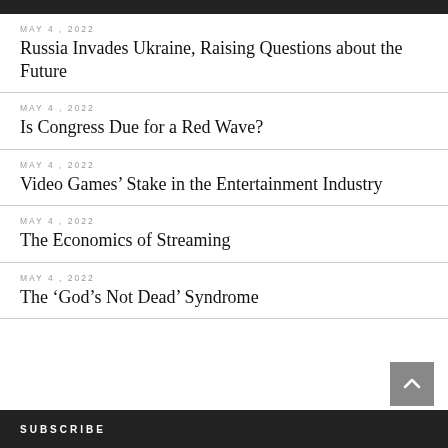Russia Invades Ukraine, Raising Questions about the Future
Is Congress Due for a Red Wave?
Video Games’ Stake in the Entertainment Industry
The Economics of Streaming
The ‘God’s Not Dead’ Syndrome
SUBSCRIBE